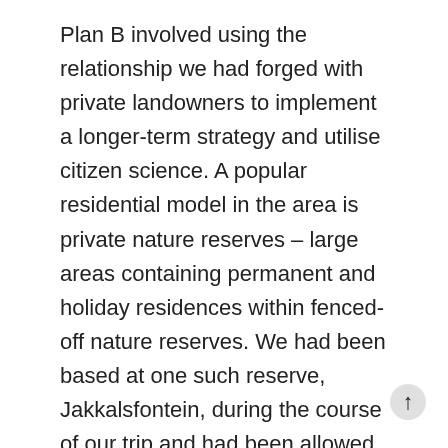Plan B involved using the relationship we had forged with private landowners to implement a longer-term strategy and utilise citizen science. A popular residential model in the area is private nature reserves – large areas containing permanent and holiday residences within fenced-off nature reserves. We had been based at one such reserve, Jakkalsfontein, during the course of our trip and had been allowed by the reserve manager to place coverboards strategically throughout the reserve. These 1×1 metre wooden boards provide cover for reptiles from predators and, by marking their location, we could return to them each day to inspect them. With our time in the field drawing to a close we requested whether we